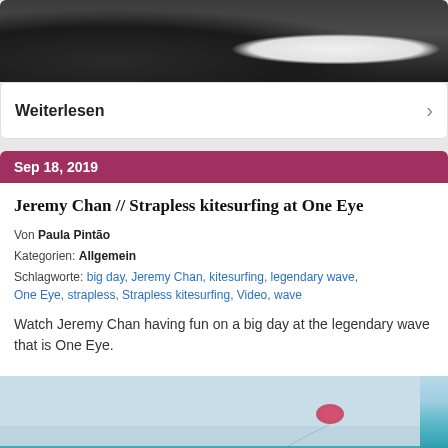[Figure (photo): Close-up photo of kitesurfer feet and board, dark background with white board tip visible]
Weiterlesen
Sep 18, 2019
Jeremy Chan // Strapless kitesurfing at One Eye
Von Paula Pintão
Kategorien: Allgemein
Schlagworte: big day, Jeremy Chan, kitesurfing, legendary wave, One Eye, strapless, Strapless kitesurfing, Video, wave
Watch Jeremy Chan having fun on a big day at the legendary wave that is One Eye.
[Figure (photo): Aerial photo of kitesurfer riding a large turquoise wave at One Eye with a pink/red kite visible in the sky]